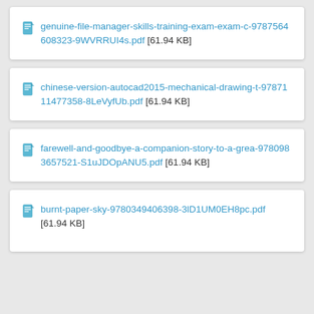genuine-file-manager-skills-training-exam-exam-c-9787564608323-9WVRRUI4s.pdf [61.94 KB]
chinese-version-autocad2015-mechanical-drawing-t-9787111477358-8LeVyfUb.pdf [61.94 KB]
farewell-and-goodbye-a-companion-story-to-a-grea-9780983657521-S1uJDOpANU5.pdf [61.94 KB]
burnt-paper-sky-9780349406398-3lD1UM0EH8pc.pdf [61.94 KB]